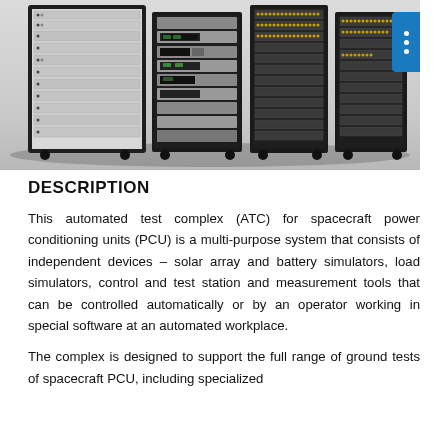[Figure (photo): Photo of an automated test complex (ATC) consisting of multiple rack-mounted equipment cabinets on wheels, including solar array and battery simulators, load simulators, and measurement tools. Four dark equipment racks are shown side by side against a white background.]
DESCRIPTION
This automated test complex (ATC) for spacecraft power conditioning units (PCU) is a multi-purpose system that consists of independent devices – solar array and battery simulators, load simulators, control and test station and measurement tools that can be controlled automatically or by an operator working in special software at an automated workplace.
The complex is designed to support the full range of ground tests of spacecraft PCU, including specialized